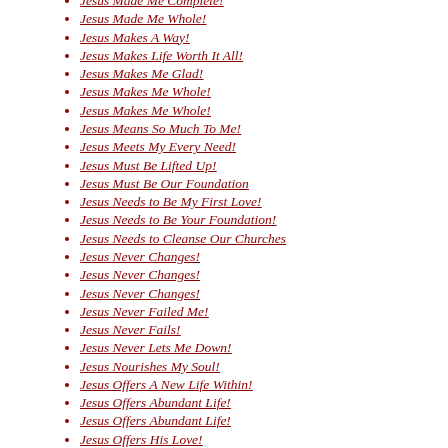Jesus Made Me Complete!
Jesus Made Me Whole!
Jesus Makes A Way!
Jesus Makes Life Worth It All!
Jesus Makes Me Glad!
Jesus Makes Me Whole!
Jesus Makes Me Whole!
Jesus Means So Much To Me!
Jesus Meets My Every Need!
Jesus Must Be Lifted Up!
Jesus Must Be Our Foundation
Jesus Needs to Be My First Love!
Jesus Needs to Be Your Foundation!
Jesus Needs to Cleanse Our Churches
Jesus Never Changes!
Jesus Never Changes!
Jesus Never Changes!
Jesus Never Failed Me!
Jesus Never Fails!
Jesus Never Lets Me Down!
Jesus Nourishes My Soul!
Jesus Offers A New Life Within!
Jesus Offers Abundant Life!
Jesus Offers Abundant Life!
Jesus Offers His Love!
Jesus Offers Something REAL!
Jesus Offers the Best Way to Live!
Jesus Offers The REAL DEAL!
Jesus Offers to You His Love!
Jesus Offers to You...
Jesus Offers TRUE Hope!